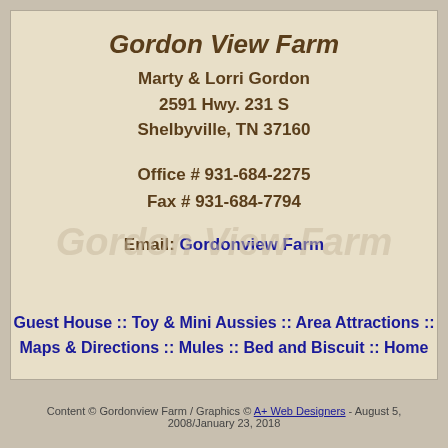Gordon View Farm
Marty & Lorri Gordon
2591 Hwy. 231 S
Shelbyville, TN 37160
Office # 931-684-2275
Fax # 931-684-7794
Email: Gordonview Farm
Guest House :: Toy & Mini Aussies :: Area Attractions :: Maps & Directions :: Mules :: Bed and Biscuit :: Home
Content © Gordonview Farm / Graphics © A+ Web Designers - August 5, 2008/January 23, 2018